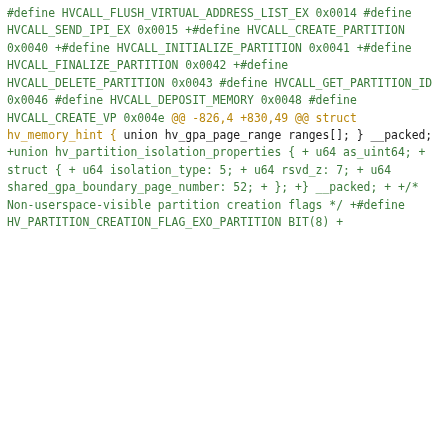#define HVCALL_FLUSH_VIRTUAL_ADDRESS_LIST_EX   0x0014
 #define HVCALL_SEND_IPI_EX                        0x0015
+#define HVCALL_CREATE_PARTITION
0x0040
+#define HVCALL_INITIALIZE_PARTITION               0x0041
+#define HVCALL_FINALIZE_PARTITION                 0x0042
+#define HVCALL_DELETE_PARTITION
0x0043
 #define HVCALL_GET_PARTITION_ID
0x0046
 #define HVCALL_DEPOSIT_MEMORY                     0x0048
 #define HVCALL_CREATE_VP                          0x004e
@@ -826,4 +830,49 @@ struct hv_memory_hint {
        union hv_gpa_page_range ranges[];
 } __packed;

+union hv_partition_isolation_properties {
+        u64 as_uint64;
+        struct {
+                u64 isolation_type: 5;
+                u64 rsvd_z: 7;
+                u64 shared_gpa_boundary_page_number:
52;
+        };
+} __packed;
+
+/* Non-userspace-visible partition creation flags */
+#define HV_PARTITION_CREATION_FLAG_EXO_PARTITION
BIT(8)
+